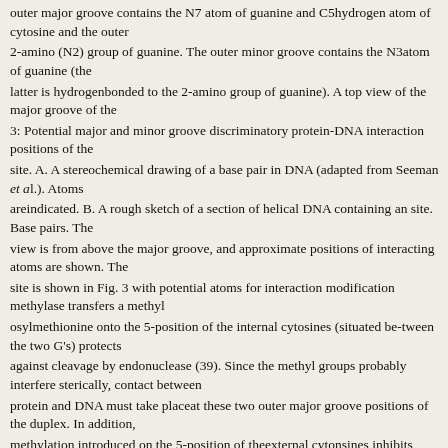outer major groove contains the N7 atom of guanine and C5hydrogen atom of cytosine and the outer 2-amino (N2) group of guanine. The outer minor groove contains the N3atom of guanine (the latter is hydrogenbonded to the 2-amino group of guanine). A top view of the major groove of the site is shown in Fig. 3 with potential atoms for interaction modification methylase transfers a methyl group from S-adenosylmethionine onto the 5-position of the internal cytosines (situated be-tween the two G's) protects against cleavage by endonuclease (39). Since the methyl groups probably interfere sterically, contact between protein and DNA must take placeat these two outer major groove positions of the duplex. In addition, methylation introduced on the 5-position of theexternal cytonsines inhibits cleavage, so these positions are also closely fitted by the enzyme. In another experiment, we useddimethylsulfate to methylate the N7 positions of guan-ine in an positioned 20 bases from the 5' terminus of a DNA fragment. After treatment, the fragment wasdigested with endonuclease, and fractionated by gel electrophoresis to separate molecules. These were then treated by Maxamand Gilbert (44) sequencing methods for guanine residues and analyzed by electrophoretic gels. Bands representing G's in the site were greatly reduced in the gel tract representinguncleaved molecules and absent from the gel tract representing cleaved molecules, so methylation of the N7 position of any Gresidue in the site conferred protection against cleavage. The effect is steric, and we infer that the enzyme closely fits these positionsin the outer major groove. Thus, we have beenable to demonstrate that methylation at any of eight positions in the outer major groove inhibits cleavage. Study of the central majorgroove groups by this approach is more difficult because of the requirement for helical pairing.
To examine minor groove interactions, we looked at activity on alternat- ing poly(dI-dC), which lacks the 2-amino groupof guanine in the central minor groove. A dI-dC base pair mimics